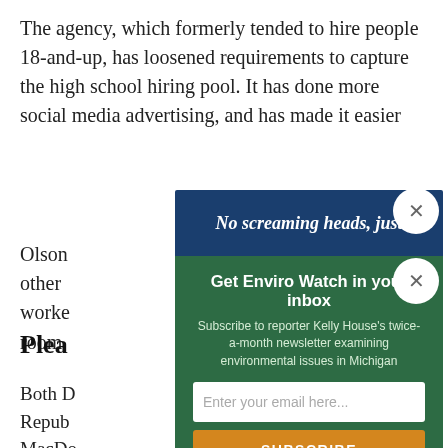The agency, which formerly tended to hire people 18-and-up, has loosened requirements to capture the high school hiring pool. It has done more social media advertising, and has made it easier to fill out an online application.
Olson... other... worker... room...
Plea
Both D... Repub... MacDo... propo... COVID
[Figure (screenshot): Email newsletter signup popup modal with dark blue header reading 'No screaming heads, just' and green body with title 'Get Enviro Watch in your inbox', subtitle 'Subscribe to reporter Kelly House's twice-a-month newsletter examining environmental issues in Michigan', email input field, orange SUBSCRIBE button, and disclaimer text 'We do not sell or share your information with anyone.']